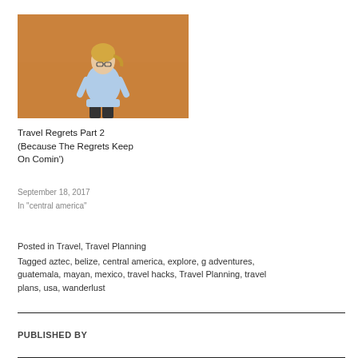[Figure (photo): Woman in light blue t-shirt standing in front of an orange/tan sandy background, wearing glasses]
Travel Regrets Part 2 (Because The Regrets Keep On Comin')
September 18, 2017
In "central america"
Posted in Travel, Travel Planning
Tagged aztec, belize, central america, explore, g adventures, guatemala, mayan, mexico, travel hacks, Travel Planning, travel plans, usa, wanderlust
PUBLISHED BY